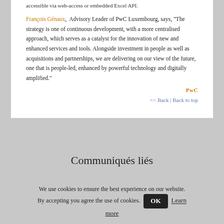accessible via web-access or embedded Excel API.
François Génaux, Advisory Leader of PwC Luxembourg, says, “The strategy is one of continuous development, with a more centralised approach, which serves as a catalyst for the innovation of new and enhanced services and tools. Alongside investment in people as well as acquisitions and partnerships, we are delivering on our view of the future, one that is people-led, enhanced by powerful technology and digitally amplified.”
PwC
<< Back | Back to top
Communiqués liés
We use cookies to ensure the best experience on our website. By accepting you agree the use of cookies. OK Learn more